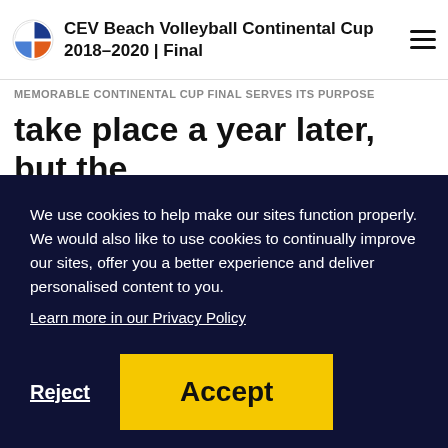CEV Beach Volleyball Continental Cup 2018-2020 | Final
MEMORABLE CONTINENTAL CUP FINAL SERVES ITS PURPOSE
take place a year later, but the coronavirus pandemic pushed both the
We use cookies to help make our sites function properly. We would also like to use cookies to continually improve our sites, offer you a better experience and deliver personalised content to you.
Learn more in our Privacy Policy
Reject
Accept
Final, Germany and Switzerland, had to